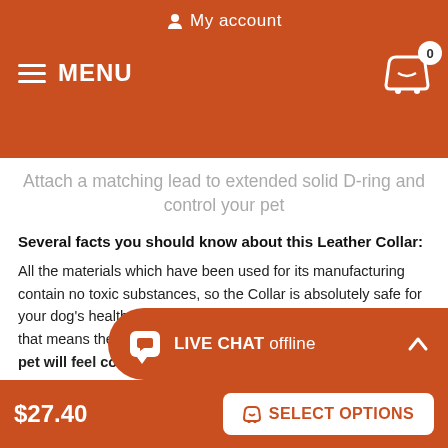My account  MENU  0
Attach a matching lead to extended solid D-ring and control your pet
Several facts you should know about this Leather Collar:
All the materials which have been used for its manufacturing contain no toxic substances, so the Collar is absolutely safe for your dog’s health. Extra soft leather material has smooth edges, that means the Collar won’t hurt into your dog’s skin, and your pet will feel comfortable during walking or training.
Special spiked design of the Collar will add strong look to your dog’s appearance. All the spik… ta… so they will keel their silver-li…
LIVE CHAT offline
$27.40  SELECT OPTIONS